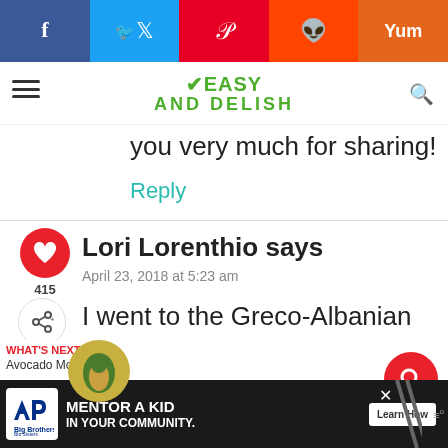[Figure (screenshot): Social sharing bar with Facebook, Twitter, Pinterest, Reddit, Yummly buttons]
[Figure (logo): Easy and Delish website logo in green text]
you very much for sharing!
Reply
415
Lori Lorenthio says
April 23, 2018 at 5:23 am
I went to the Greco-Albanian
WHAT'S NEXT → Avocado Mousse...
[Figure (infographic): Big Brothers Big Sisters ad: MENTOR A KID IN YOUR COMMUNITY. Learn How.]